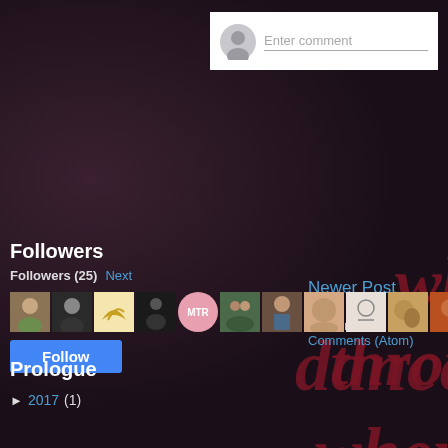[Figure (screenshot): Dark-themed blog page screenshot showing a dancer silhouette against corrugated metal background, with decorative red text overlays reading 'why push', 'through li', 'when you', 'dance thro', 'it']
Enter comment
Newer Post
Subscribe to: Post Comments (Atom)
Followers
Followers (25) Next
Follow
Prologue
► 2017 (1)